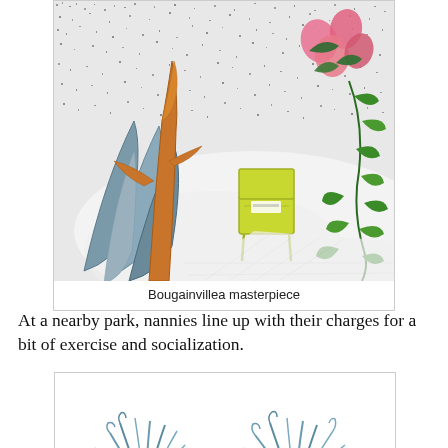[Figure (illustration): Hand-drawn and colored illustration of a garden scene with large blue-grey leaves, an orange/brown trunk plant, a yellow-green chair, pink bougainvillea flowers, and green climbing vines against a speckled grey background.]
Bougainvillea masterpiece
At a nearby park,  nannies line up with their charges for a bit of exercise and socialization.
[Figure (illustration): Hand-drawn illustration of grass-like plants with blue-grey spiky leaves and orange-red flowers at the base, partially visible at the bottom of the page.]